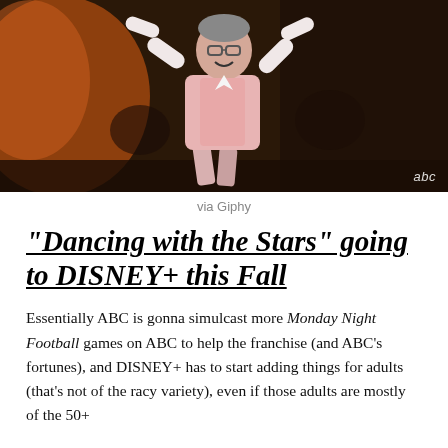[Figure (photo): A man in a pink vest and white shirt dancing enthusiastically with arms raised, on a dimly lit stage with warm orange background lighting. ABC logo visible in bottom right corner.]
via Giphy
“Dancing with the Stars” going to DISNEY+ this Fall
Essentially ABC is gonna simulcast more Monday Night Football games on ABC to help the franchise (and ABC’s fortunes), and DISNEY+ has to start adding things for adults (that’s not of the racy variety), even if those adults are mostly of the 50+